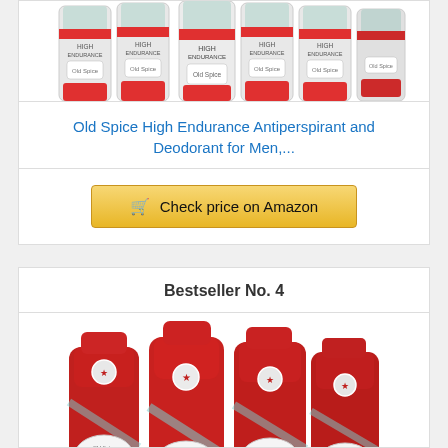[Figure (photo): Old Spice High Endurance Antiperspirant and Deodorant sticks arranged in a row, partially cropped at top]
Old Spice High Endurance Antiperspirant and Deodorant for Men,...
Check price on Amazon
Bestseller No. 4
[Figure (photo): Old Spice Pure Sport body wash bottles (3X) arranged in a group, red packaging]